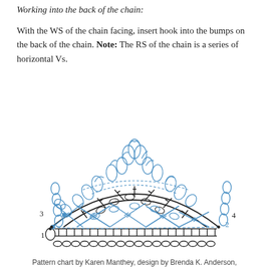Working into the back of the chain:
With the WS of the chain facing, insert hook into the bumps on the back of the chain. Note: The RS of the chain is a series of horizontal Vs.
[Figure (illustration): Crochet pattern chart showing 4 rows of a stitch pattern. Row 1 at the bottom is a foundation chain. Row 2 shows crossed stitches in blue forming a fan/shell shape. Row 3 shows blue crossed stitches on the left. Row 4 shows blue crossed stitches on the upper right. The top portion has blue puff/bobble stitches arranged in a shell pattern along the top arc. Row numbers 1, 2, 3, 4 are labeled at their respective positions.]
Pattern chart by Karen Manthey, design by Brenda K. Anderson,